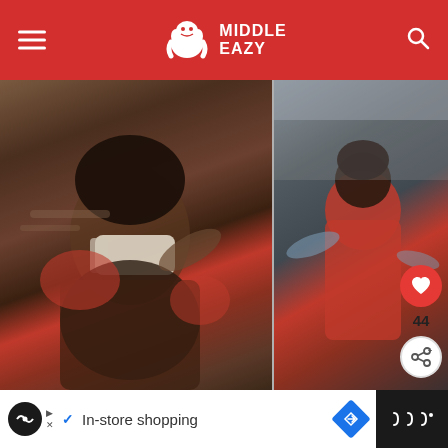MiddleEasy
[Figure (photo): Two side-by-side video stills showing a physical altercation. Left frame: a person in a face mask being grabbed/punched. Right frame: another person in a red jacket being struck.]
(Video) Jason Derulo Attacks Two Guys Getting Called Usher
WHAT'S NEXT → Evander Holyfield...
[Figure (photo): Small thumbnail image of Evander Holyfield related article]
In-store shopping  [Advertisement bar]